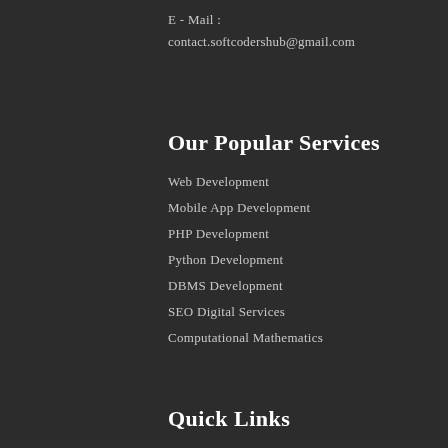E - Mail :
contact.softcodershub@gmail.com
Our Popular Services
Web Development
Mobile App Development
PHP Development
Python Development
DBMS Development
SEO Digital Services
Computational Mathematics
Quick Links
Pay Now
Pricing